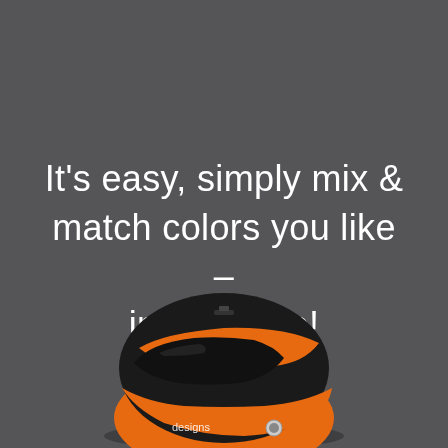It's easy, simply mix & match colors you like – in real time!
[Figure (photo): A racing helmet with orange, black and white graphic design, partially visible at the bottom of the image, with 'designs' text visible on the side]